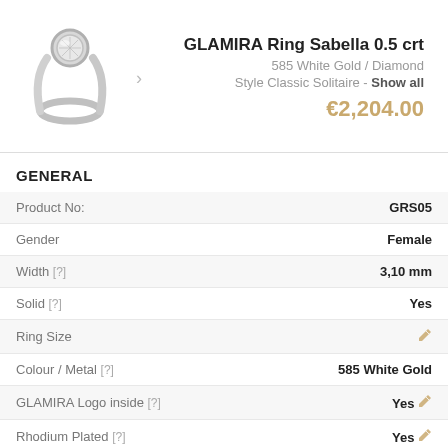[Figure (photo): Silver diamond solitaire ring (GLAMIRA Ring Sabella) with a round bezel-set diamond, shown from a side angle]
GLAMIRA Ring Sabella 0.5 crt
585 White Gold / Diamond
Style Classic Solitaire - Show all
€2,204.00
GENERAL
| Property | Value |
| --- | --- |
| Product No: | GRS05 |
| Gender | Female |
| Width [?] | 3,10 mm |
| Solid [?] | Yes |
| Ring Size | ✏ |
| Colour / Metal [?] | 585 White Gold |
| GLAMIRA Logo inside [?] | Yes ✏ |
| Rhodium Plated [?] | Yes ✏ |
| Product Dimensions | Click to View |
| Comfort Fit [?] | Yes |